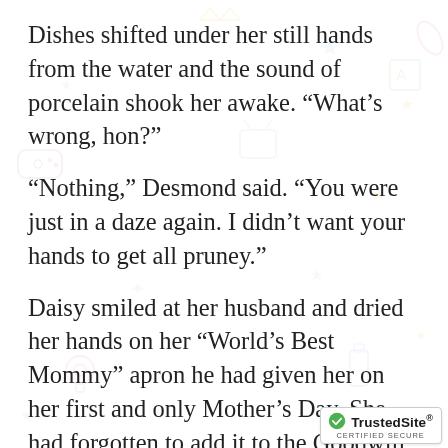Dishes shifted under her still hands from the water and the sound of porcelain shook her awake. “What’s wrong, hon?”
“Nothing,” Desmond said. “You were just in a daze again. I didn’t want your hands to get all pruney.”
Daisy smiled at her husband and dried her hands on her “World’s Best Mommy” apron he had given her on her first and only Mother’s Day. She had forgotten to add it to the Goodwill boxes and decided it still had a function. She just wore it in reverse.